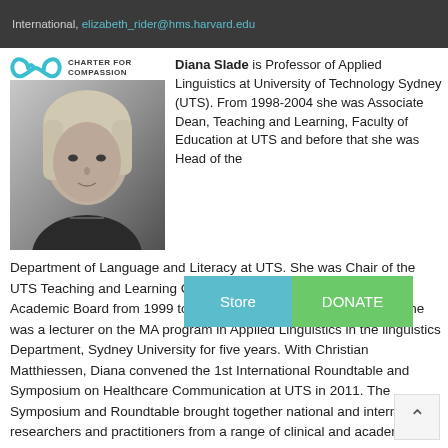International, elizabeth_rider@hms.harvard.edu
[Figure (logo): Charter for Compassion logo with infinity symbol in teal]
[Figure (photo): Black and white portrait photo of Diana Slade, a woman with light hair]
Diana Slade is Professor of Applied Linguistics at University of Technology Sydney (UTS). From 1998-2004 she was Associate Dean, Teaching and Learning, Faculty of Education at UTS and before that she was Head of the Department of Language and Literacy at UTS. She was Chair of the UTS Teaching and Learning Committee as well as Deputy Chair of Academic Board from 1999 to 2008. Before joining UTS, in 1990, she was a lecturer on the MA program in Applied Linguistics in the linguistics Department, Sydney University for five years. With Christian Matthiessen, Diana convened the 1st International Roundtable and Symposium on Healthcare Communication at UTS in 2011. The Symposium and Roundtable brought together national and international researchers and practitioners from a range of clinical and academic disciplines to